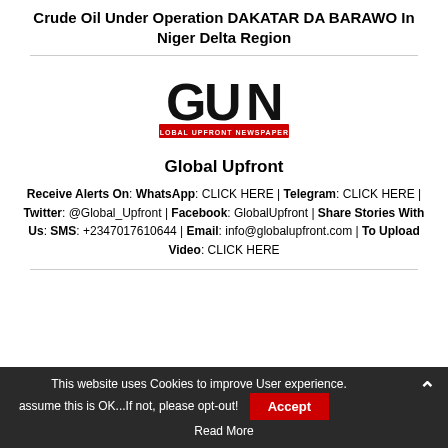Crude Oil Under Operation DAKATAR DA BARAWO In Niger Delta Region
[Figure (logo): GUN - Global Upfront Newspapers logo with bold black letters and red banner]
Global Upfront
Receive Alerts On: WhatsApp: CLICK HERE | Telegram: CLICK HERE | Twitter: @Global_Upfront | Facebook: GlobalUpfront | Share Stories With Us: SMS: +2347017610644 | Email: info@globalupfront.com | To Upload Video: CLICK HERE
This website uses Cookies to improve User experience. assume this is OK...If not, please opt-out! Accept Read More